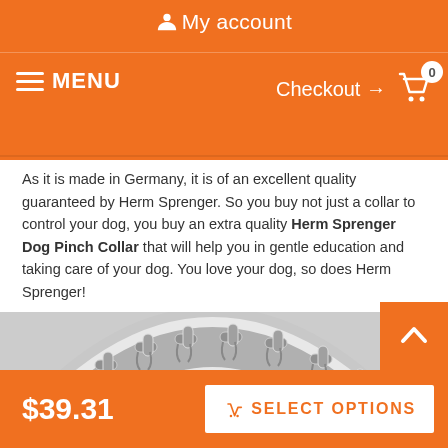My account | MENU | Checkout → 0
As it is made in Germany, it is of an excellent quality guaranteed by Herm Sprenger. So you buy not just a collar to control your dog, you buy an extra quality Herm Sprenger Dog Pinch Collar that will help you in gentle education and taking care of your dog. You love your dog, so does Herm Sprenger!
[Figure (photo): Close-up photo of a Herm Sprenger dog pinch collar made of stainless steel chain links with prongs]
$39.31  🛒 SELECT OPTIONS